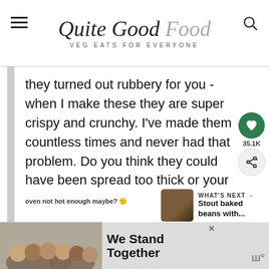Quite Good Food — VEG EATS FOR EVERYONE
they turned out rubbery for you - when I make these they are super crispy and crunchy. I've made them countless times and never had that problem. Do you think they could have been spread too thick or your oven not hot enough maybe? 🙂
[Figure (screenshot): What's Next section with thumbnail image of Stout baked beans with...]
[Figure (screenshot): Advertisement banner: We Stand Together with group photo]